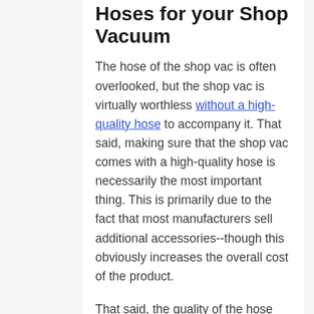Hoses for your Shop Vacuum
The hose of the shop vac is often overlooked, but the shop vac is virtually worthless without a high-quality hose to accompany it. That said, making sure that the shop vac comes with a high-quality hose is necessarily the most important thing. This is primarily due to the fact that most manufacturers sell additional accessories--though this obviously increases the overall cost of the product.
That said, the quality of the hose can be judged in a couple of different ways and will heavily depend on the setting and